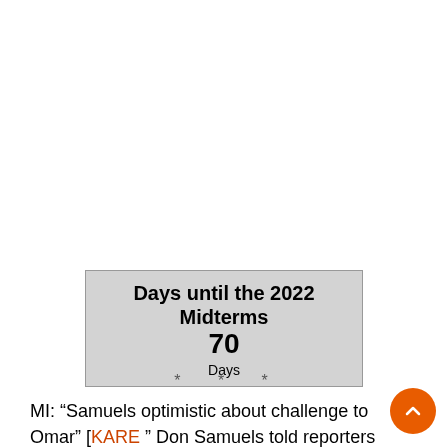[Figure (infographic): Countdown box with gray background showing 'Days until the 2022 Midterms 70 Days']
* * *
MI: “Samuels optimistic about challenge to Omar” [KARE] “ Don Samuels told reporters Tuesday he believes a coalition of clergy, DFL party veterans and community